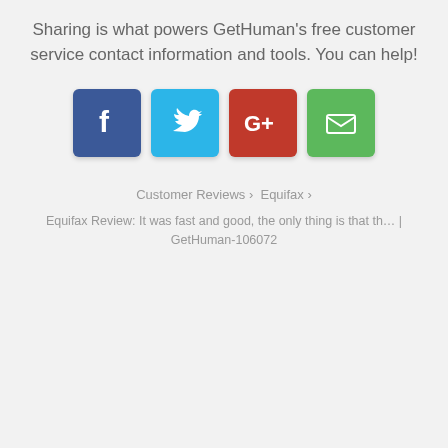Sharing is what powers GetHuman's free customer service contact information and tools. You can help!
[Figure (infographic): Four social share buttons: Facebook (blue), Twitter (cyan), Google+ (red), Email (green)]
Customer Reviews › Equifax ›
Equifax Review: It was fast and good, the only thing is that th… | GetHuman-106072